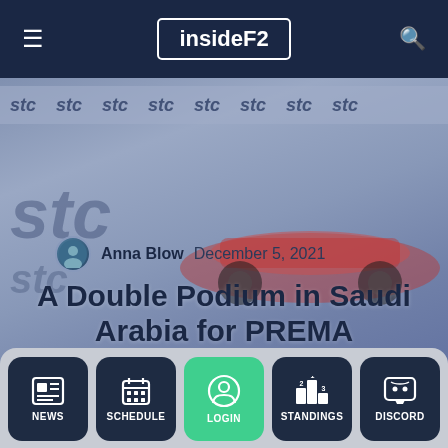insideF2
[Figure (photo): Formula 2 race car with STC sponsor banner in background, reddish racing car visible]
Anna Blow   December 5, 2021
A Double Podium in Saudi Arabia for PREMA
[Figure (infographic): Social share buttons: Facebook, Twitter, LinkedIn, Reddit, WhatsApp, Email]
NEWS   SCHEDULE   LOGIN   STANDINGS   DISCORD